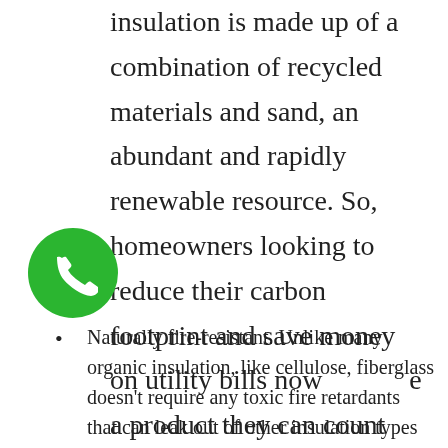insulation is made up of a combination of recycled materials and sand, an abundant and rapidly renewable resource. So, homeowners looking to reduce their carbon footprint and save money on utility bills now have a product they can count on.
[Figure (illustration): Green circular phone call button with white phone handset icon]
Naturally fire-resistant. Unlike many organic insulation, like cellulose, fiberglass doesn't require any toxic fire retardants that can leak out of other insulation types over time into your home and leaving them without protection from heat and flame.
Free of formaldehyde - no off-gassing of any materials.